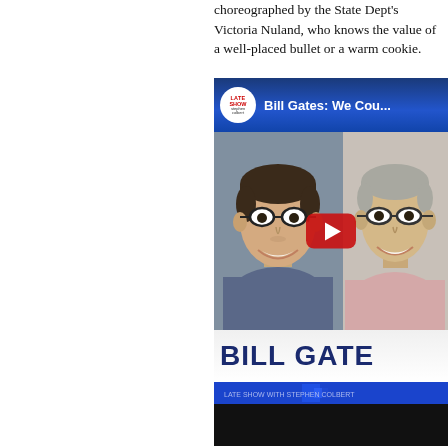choreographed by the State Dept's Victoria Nuland, who knows the value of a well-placed bullet or a warm cookie.
[Figure (screenshot): YouTube video thumbnail showing 'Bill Gates: We Cou...' on the Late Show with Stephen Colbert channel. The thumbnail shows Stephen Colbert (left, smiling, wearing glasses and blue shirt) and Bill Gates (right, smiling, wearing glasses and pink sweater) with a red YouTube play button in the center. A lower-third graphic reads 'BILL GATE' in bold blue letters on a white/blue background.]